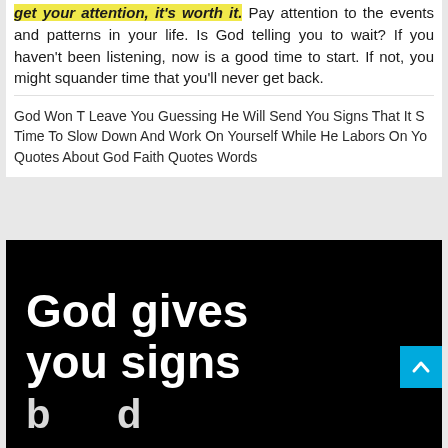get your attention, it's worth it. Pay attention to the events and patterns in your life. Is God telling you to wait? If you haven't been listening, now is a good time to start. If not, you might squander time that you'll never get back.
God Won T Leave You Guessing He Will Send You Signs That It S Time To Slow Down And Work On Yourself While He Labors On Yo Quotes About God Faith Quotes Words
[Figure (photo): Black background image with large white bold text reading 'God gives you signs' with partial text below]